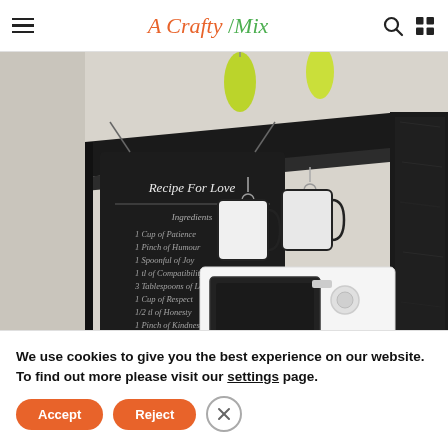A Crafty Mix — navigation bar with hamburger menu, logo, search icon, grid icon
[Figure (photo): Kitchen scene with a black painted wooden shelf holding hanging mugs, a white microwave below, a chalkboard sign reading 'Recipe For Love' on the wall, and yellow-green pendant lights visible at the top.]
We use cookies to give you the best experience on our website. To find out more please visit our settings page.
Accept
Reject